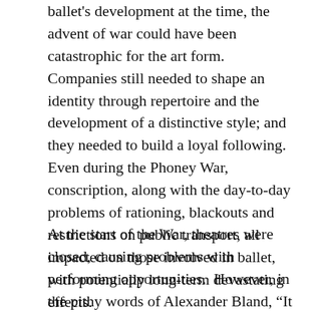ballet's development at the time, the advent of war could have been catastrophic for the art form.  Companies still needed to shape an identity through repertoire and the development of a distinctive style; and they needed to build a loyal following.  Even during the Phoney War, conscription, along with the day-to-day problems of rationing, blackouts and restrictions on public transport, all impacted on those involved in ballet, with potentially long-term devastating effects.
At the start of the War, theatres were closed, causing problems with performing opportunities.  However, in the pithy words of Alexander Bland, "It soon became apparent to the authorities that a total cessation of normal